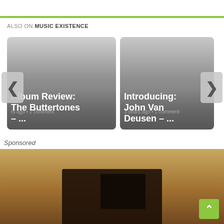ALSO ON MUSIC EXISTENCE
[Figure (screenshot): Carousel card: Album Review: The Buttertones – ... | rs ago • 1 comment]
[Figure (screenshot): Carousel card: Introducing: John Van Deusen – ... | 3 years ago • 1 comment]
Sponsored
[Figure (photo): Sponsored image showing sandy/rocky texture with dark object]